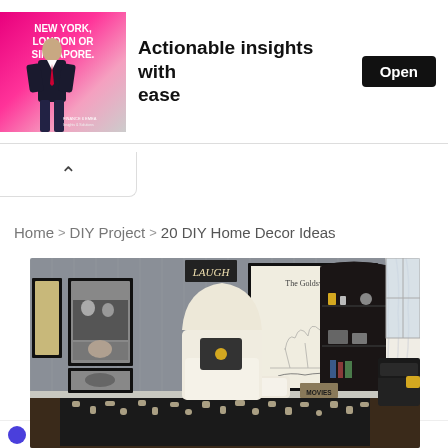[Figure (screenshot): Advertisement banner with man in suit, text 'NEW YORK, LONDON OR SINGAPORE.' and 'Actionable insights with ease', Open button, sponsored by Sense Forth]
Home > DIY Project > 20 DIY Home Decor Ideas
[Figure (photo): Interior room decorated with black and white framed photos on grey paneled wall, large framed art reading 'The Goldsworths', white wingback armchair with ottoman, black bookshelf with trophies, dark patterned rug, white curtains and window]